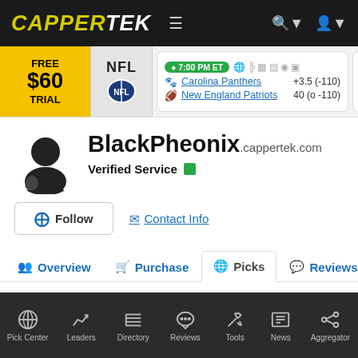CAPPERTEK navigation bar with logo, menu, search and user icons
[Figure (screenshot): CapperTek website header with NFL odds ticker showing Carolina Panthers +3.5 (-110) vs New England Patriots 40 (o -110) at 7:00 PM ET, and a Free $60 Trial banner]
BlackPheonix.cappertek.com
Verified Service
Follow  Contact Info
Overview  Purchase  Picks  Reviews
Pick Center  Leaders  Directory  Reviews  Tools  News  Aggregator